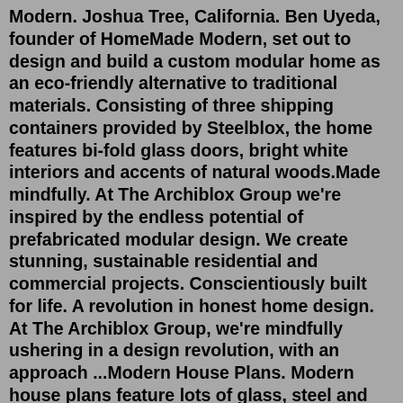Modern. Joshua Tree, California. Ben Uyeda, founder of HomeMade Modern, set out to design and build a custom modular home as an eco-friendly alternative to traditional materials. Consisting of three shipping containers provided by Steelblox, the home features bi-fold glass doors, bright white interiors and accents of natural woods.Made mindfully. At The Archiblox Group we're inspired by the endless potential of prefabricated modular design. We create stunning, sustainable residential and commercial projects. Conscientiously built for life. A revolution in honest home design. At The Archiblox Group, we're mindfully ushering in a design revolution, with an approach ...Modern House Plans. Modern house plans feature lots of glass, steel and concrete. Open floor plans are a signature characteristic of this style. From the street, they are dramatic to behold. There is some overlap with contemporary house plans with our modern house plan collection featuring those plans that push the envelope in a visually ...First Choice Homes is your premier Michigan modular...